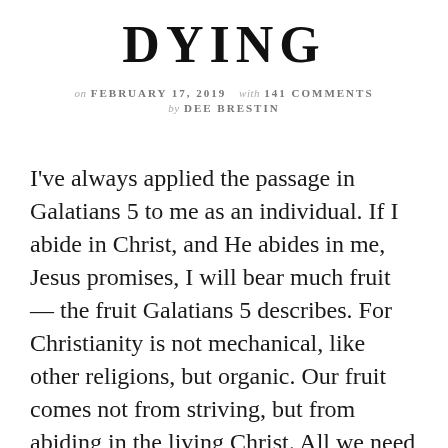DYING
on FEBRUARY 17, 2019   with 141 COMMENTS
by DEE BRESTIN
I've always applied the passage in Galatians 5 to me as an individual. If I abide in Christ, and He abides in me, Jesus promises, I will bear much fruit — the fruit Galatians 5 describes. For Christianity is not mechanical, like other religions, but organic. Our fruit comes not from striving, but from abiding in the living Christ. All we need to do is abide, and then His life flows into us through His Spirit, producing the